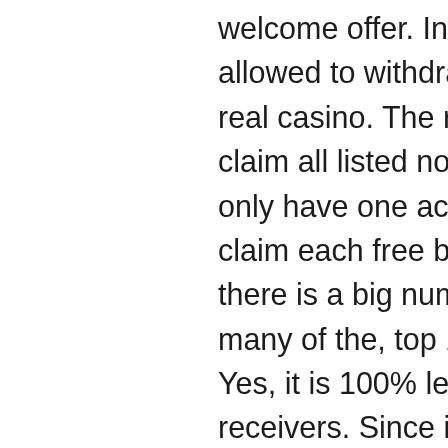welcome offer. In this case you will only be allowed to withdraw the $500, top 10 online real casino. The rest will be forfeited. Can I claim all listed no deposit bonuses? You can only have one account in each casino and claim each free bonus just once, however, there is a big number of online casinos, and many of the, top 10 online casinos 2022. Yes, it is 100% legitimate, top 10 slot receivers. Since it was launched in 2009 Planet 7 Casino has attracted players from all over the world (including the United State. There is a form you must fill out before you make a withdrawal. First time withdrawals may require security documentation about your identity and authenticity of the account holders credit card information and/or payment accounts, top 10 online casinos 2022. Take at least five minutes to scroll through the site to make sure it